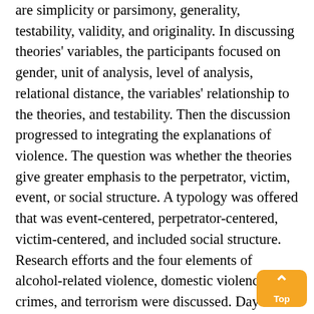are simplicity or parsimony, generality, testability, validity, and originality. In discussing theories' variables, the participants focused on gender, unit of analysis, level of analysis, relational distance, the variables' relationship to the theories, and testability. Then the discussion progressed to integrating the explanations of violence. The question was whether the theories give greater emphasis to the perpetrator, victim, event, or social structure. A typology was offered that was event-centered, perpetrator-centered, victim-centered, and included social structure. Research efforts and the four elements of alcohol-related violence, domestic violence, hate crimes, and terrorism were discussed. Day two of the workshop involved group discussion on theory and implications for NIJ and practitioners. The participants focused on variations in rates of violence, social structure and hot spots, predictions regard